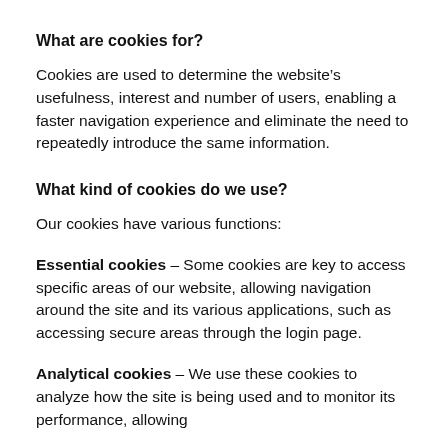What are cookies for?
Cookies are used to determine the website’s usefulness, interest and number of users, enabling a faster navigation experience and eliminate the need to repeatedly introduce the same information.
What kind of cookies do we use?
Our cookies have various functions:
Essential cookies – Some cookies are key to access specific areas of our website, allowing navigation around the site and its various applications, such as accessing secure areas through the login page.
Analytical cookies – We use these cookies to analyze how the site is being used and to monitor its performance, allowing